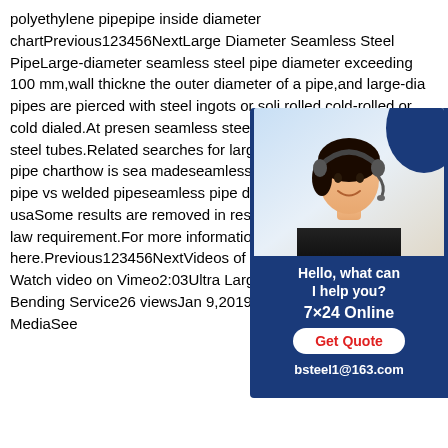polyethylene pipepipe inside diameter chartPrevious123456NextLarge Diameter Seamless Steel PipeLarge-diameter seamless steel pipe diameter exceeding 100 mm,wall thickness the outer diameter of a pipe,and large-dia pipes are pierced with steel ingots or soli rolled,cold-rolled,or cold dialed.At presen seamless steel tubes mainly produce larg steel tubes.Related searches for large oc pipe sizesseamless pipe charthow is sea madeseamless steel pipeseamless pipe pipe vs welded pipeseamless pipe dimensions manufacturers in usaSome results are removed in response to a notice of local law requirement.For more information,please see here.Previous123456NextVideos of large od seamless pipe Watch video on Vimeo2:03Ultra Large Pipe and Structural Steel Bending Service26 viewsJan 9,2019VimeoMind Water MediaSee
[Figure (illustration): Chat widget with photo of a woman wearing a headset (customer service representative), on a dark blue background. Contains text: 'Hello, what can I help you?', '7×24 Online', 'Get Quote' button, and 'bsteel1@163.com'.]